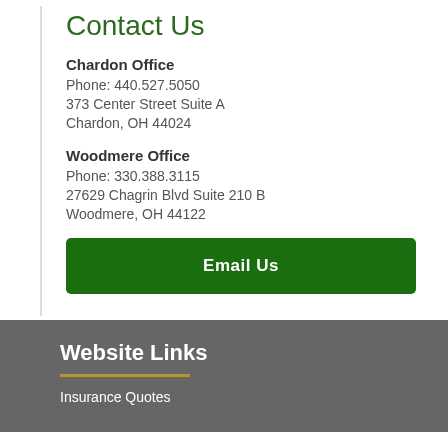Contact Us
Chardon Office
Phone: 440.527.5050
373 Center Street Suite A
Chardon, OH 44024
Woodmere Office
Phone: 330.388.3115
27629 Chagrin Blvd Suite 210 B
Woodmere, OH 44122
Email Us
Website Links
Insurance Quotes